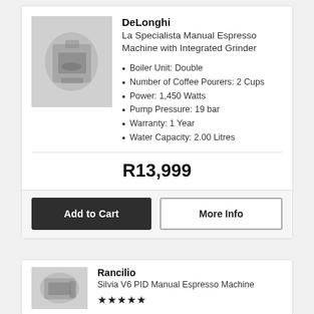[Figure (photo): Blurred product photo of DeLonghi La Specialista espresso machine]
DeLonghi
La Specialista Manual Espresso Machine with Integrated Grinder
Boiler Unit: Double
Number of Coffee Pourers: 2 Cups
Power: 1,450 Watts
Pump Pressure: 19 bar
Warranty: 1 Year
Water Capacity: 2.00 Litres
R13,999
Add to Cart
More Info
[Figure (photo): Blurred product photo of Rancilio Silvia V6 PID espresso machine]
Rancilio
Silvia V6 PID Manual Espresso Machine
★★★★★